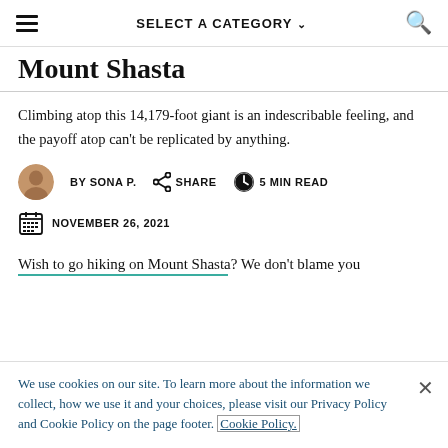SELECT A CATEGORY
Mount Shasta
Climbing atop this 14,179-foot giant is an indescribable feeling, and the payoff atop can't be replicated by anything.
BY SONA P.   SHARE   5 MIN READ   NOVEMBER 26, 2021
Wish to go hiking on Mount Shasta? We don't blame you
We use cookies on our site. To learn more about the information we collect, how we use it and your choices, please visit our Privacy Policy and Cookie Policy on the page footer. Cookie Policy.